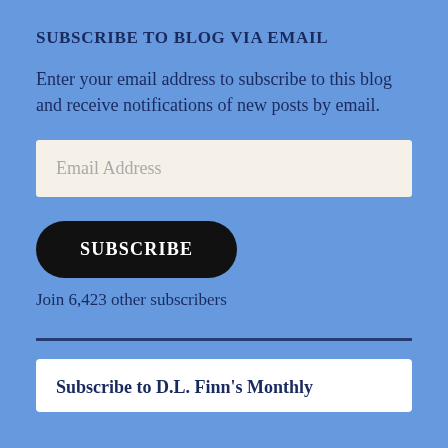SUBSCRIBE TO BLOG VIA EMAIL
Enter your email address to subscribe to this blog and receive notifications of new posts by email.
Email Address
SUBSCRIBE
Join 6,423 other subscribers
Subscribe to D.L. Finn's Monthly